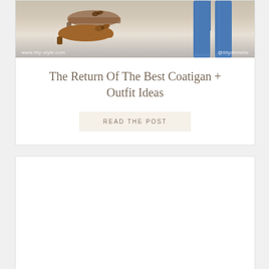[Figure (photo): Fashion blog card showing brown leather mule shoes on the left and blue jeans on the right, with watermarks 'www.lilly-style.com' and '@lillydemello']
The Return Of The Best Coatigan + Outfit Ideas
READ THE POST
[Figure (photo): Second fashion blog card, showing a white/blank content area below]